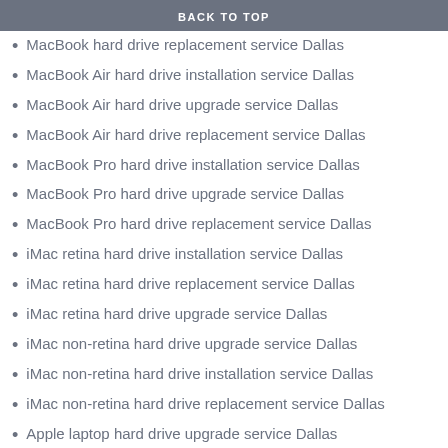BACK TO TOP
MacBook hard drive replacement service Dallas
MacBook Air hard drive installation service Dallas
MacBook Air hard drive upgrade service Dallas
MacBook Air hard drive replacement service Dallas
MacBook Pro hard drive installation service Dallas
MacBook Pro hard drive upgrade service Dallas
MacBook Pro hard drive replacement service Dallas
iMac retina hard drive installation service Dallas
iMac retina hard drive replacement service Dallas
iMac retina hard drive upgrade service Dallas
iMac non-retina hard drive upgrade service Dallas
iMac non-retina hard drive installation service Dallas
iMac non-retina hard drive replacement service Dallas
Apple laptop hard drive upgrade service Dallas
Apple laptop hard drive replacement service Dallas
Dell computer hard drive upgrade service Dallas
Hp computer hard drive upgrade service Dallas
Acer computer hard drive upgrade service Dallas
Microsoft surface hard drive upgrade service Dallas